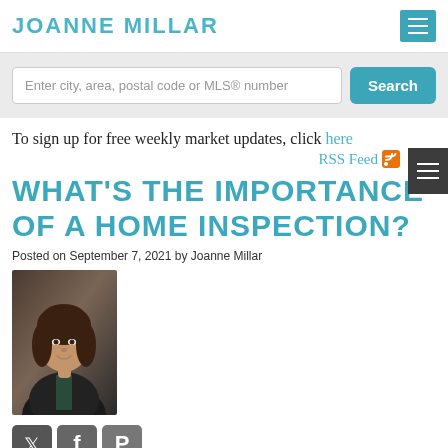JOANNE MILLAR
Enter city, area, postal code or MLS® number
Search
To sign up for free weekly market updates, click here
RSS Feed
WHAT'S THE IMPORTANCE OF A HOME INSPECTION?
Posted on September 7, 2021 by Joanne Millar
[Figure (photo): Headshot of Joanne Millar, a woman with long dark hair wearing a dark jacket]
[Figure (other): Social media icons: Twitter, Facebook, Pinterest]